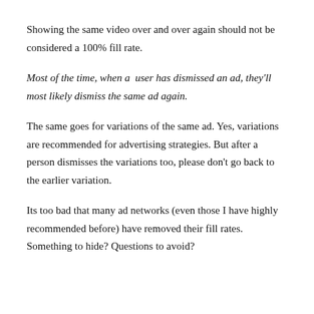Showing the same video over and over again should not be considered a 100% fill rate.
Most of the time, when a user has dismissed an ad, they'll most likely dismiss the same ad again.
The same goes for variations of the same ad. Yes, variations are recommended for advertising strategies. But after a person dismisses the variations too, please don't go back to the earlier variation.
Its too bad that many ad networks (even those I have highly recommended before) have removed their fill rates. Something to hide? Questions to avoid?